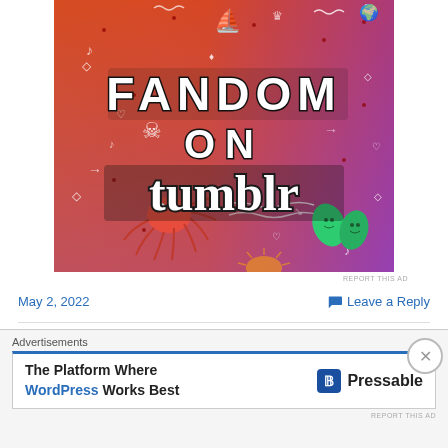[Figure (illustration): Colorful orange-to-purple gradient advertisement banner for 'Fandom on Tumblr' with doodle illustrations including a spider, leaves, skull, boat, and various small icons. Large bold text reads 'FANDOM ON tumblr'.]
REPORT THIS AD
May 2, 2022
Leave a Reply
Macro Monday – April 25th 2022 – Lest We Forget
Advertisements
The Platform Where WordPress Works Best
[Figure (logo): Pressable logo with blue square P icon and 'Pressable' text]
REPORT THIS AD